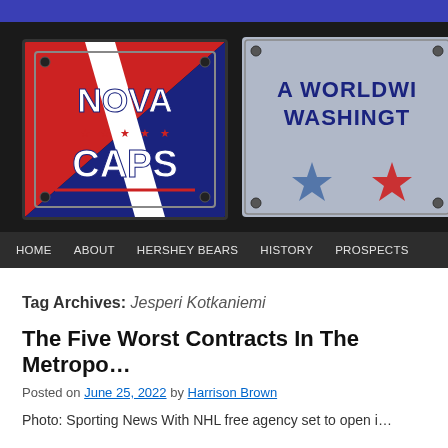[Figure (logo): NovaCaps website header banner with NovaCaps logo on left and 'A Worldwide Washington' text and stars on right, with dark diamond-plate background]
Home  ABOUT  HERSHEY BEARS  HISTORY  PROSPECTS
Tag Archives: Jesperi Kotkaniemi
The Five Worst Contracts In The Metro...
Posted on June 25, 2022 by Harrison Brown
Photo: Sporting News With NHL free agency set to open i...